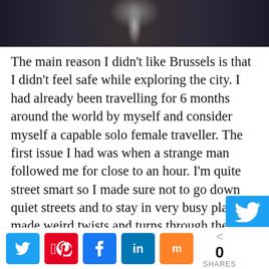[Figure (photo): Top portion of a street photo, likely of Brussels Christmas markets or a European city street, shown in dark tones.]
The main reason I didn't like Brussels is that I didn't feel safe while exploring the city. I had already been travelling for 6 months around the world by myself and consider myself a capable solo female traveller. The first issue I had was when a strange man followed me for close to an hour. I'm quite street smart so I made sure not to go down quiet streets and to stay in very busy places. I made weird twists and turns through the Christmas markets yet he was still in my peripheral view. I decided to go to a cafe and I sat in there for a whi
Twitter Pinterest Facebook LinkedIn Mix · 0 SHARES